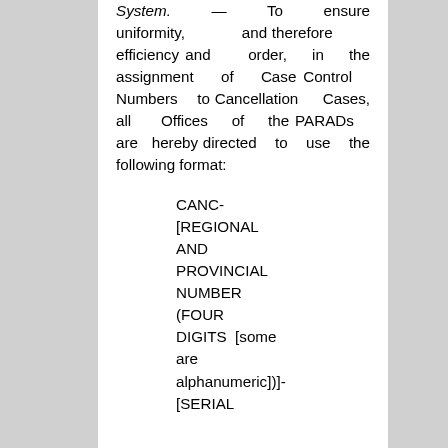System. — To ensure uniformity, and therefore efficiency and order, in the assignment of Case Control Numbers to Cancellation Cases, all Offices of the PARADs are hereby directed to use the following format:
CANC-[REGIONAL AND PROVINCIAL NUMBER (FOUR DIGITS [some are alphanumeric])]-[SERIAL